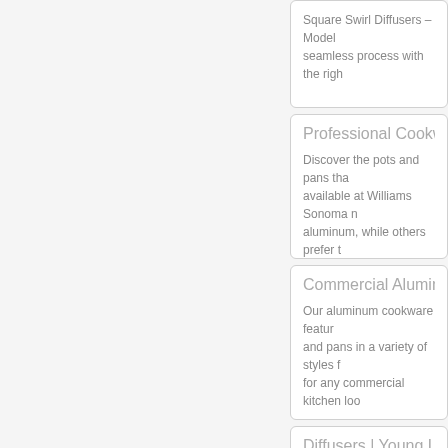Square Swirl Diffusers – Model seamless process with the righ
Professional Cookware
Discover the pots and pans tha available at Williams Sonoma n aluminum, while others prefer t
Commercial Aluminum
Our aluminum cookware featur and pans in a variety of styles f for any commercial kitchen loo
Diffusers | Young Livin
Essential Oil Diffusers Aria Ultr Atomizing Diffuser Car Vent Di